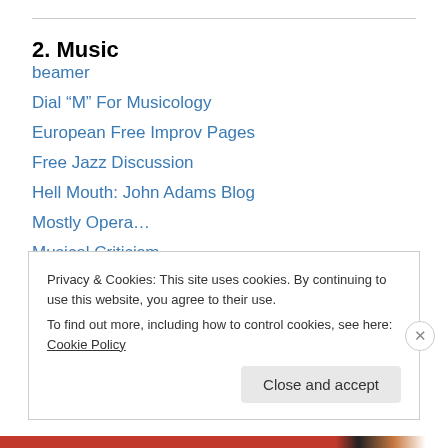2. Music
beamer
Dial “M” For Musicology
European Free Improv Pages
Free Jazz Discussion
Hell Mouth: John Adams Blog
Mostly Opera…
Musical Criticism
New Music Reblog
Nude As the News
Opera Chic Blog
Privacy & Cookies: This site uses cookies. By continuing to use this website, you agree to their use. To find out more, including how to control cookies, see here: Cookie Policy
Close and accept